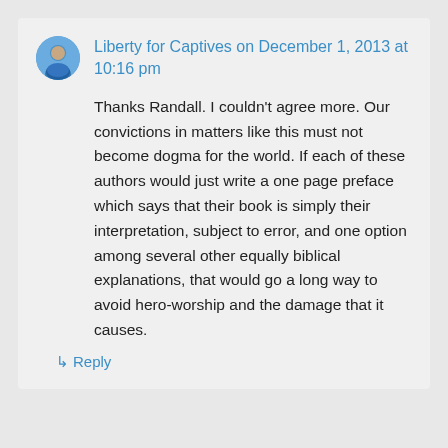[Figure (illustration): Round avatar photo of a person wearing a blue jacket]
Liberty for Captives on December 1, 2013 at 10:16 pm
Thanks Randall. I couldn't agree more. Our convictions in matters like this must not become dogma for the world. If each of these authors would just write a one page preface which says that their book is simply their interpretation, subject to error, and one option among several other equally biblical explanations, that would go a long way to avoid hero-worship and the damage that it causes.
↳ Reply